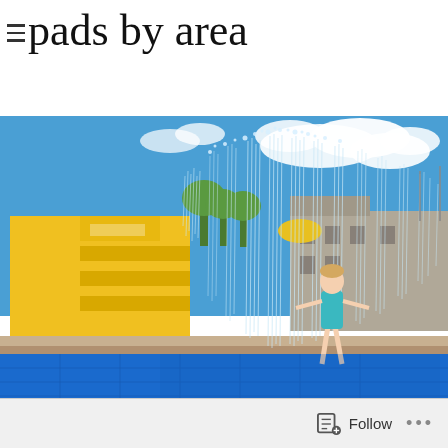pads by area
[Figure (photo): A child in a teal swimsuit stands with arms outstretched in an outdoor splash pad with tall curtains of water spraying up. A bright yellow play structure with stairs is visible on the left. Buildings and trees appear in the background under a partly cloudy blue sky. The ground is covered with a blue rubber mat.]
Follow ...